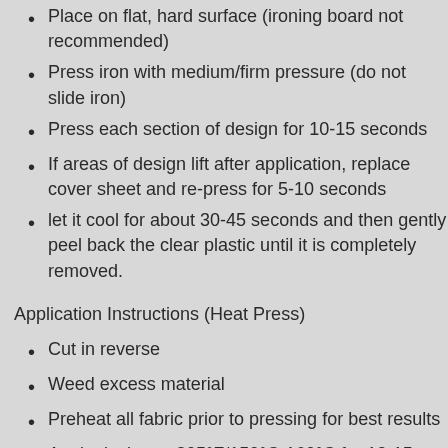Place on flat, hard surface (ironing board not recommended)
Press iron with medium/firm pressure (do not slide iron)
Press each section of design for 10-15 seconds
If areas of design lift after application, replace cover sheet and re-press for 5-10 seconds
let it cool for about 30-45 seconds and then gently peel back the clear plastic until it is completely removed.
Application Instructions (Heat Press)
Cut in reverse
Weed excess material
Preheat all fabric prior to pressing for best results
Apply design at 305°F/150°C-160°C for 12-15 seconds